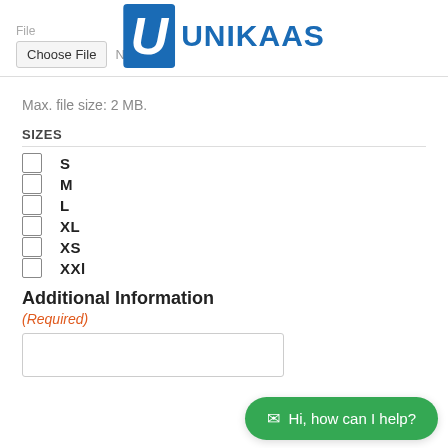File / Choose File No fi... [UNIKAAS logo]
Max. file size: 2 MB.
SIZES
S
M
L
XL
XS
XXl
Additional Information
(Required)
[Figure (screenshot): Empty textarea input field]
Hi, how can I help?